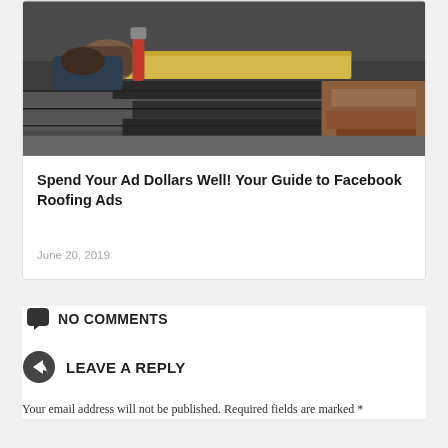[Figure (photo): Close-up photo of a roofer's hands laying shingles with a tool, showing roofing tiles in progress]
Spend Your Ad Dollars Well! Your Guide to Facebook Roofing Ads
June 20, 2019
NO COMMENTS
LEAVE A REPLY
Your email address will not be published. Required fields are marked *